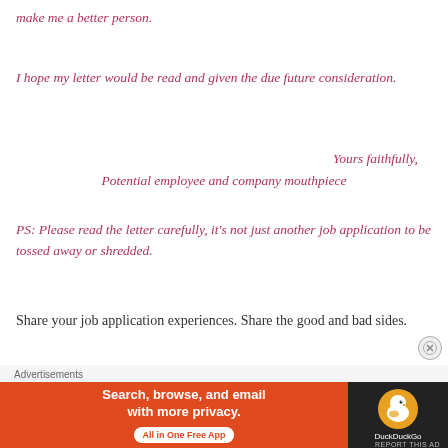make me a better person.
I hope my letter would be read and given the due future consideration.
Yours faithfully,
Potential employee and company mouthpiece
PS: Please read the letter carefully, it's not just another job application to be tossed away or shredded.
Share your job application experiences. Share the good and bad sides.
[Figure (infographic): DuckDuckGo advertisement banner: 'Search, browse, and email with more privacy. All in One Free App' with DuckDuckGo logo on dark background]